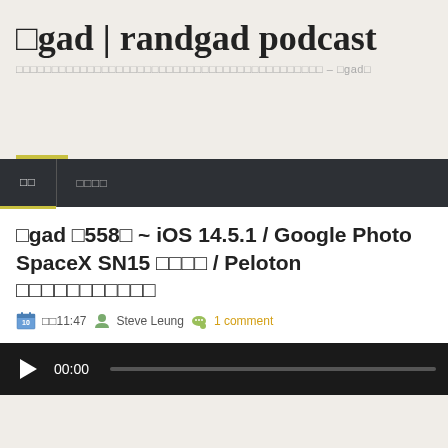gad | randgad podcast
- gad
首頁  最新文章
gad 第558集 ~ iOS 14.5.1 / Google Photo SpaceX SN15 成功降落 / Peloton 召回單車踏步機
時間11:47  Steve Leung  1 comment
[Figure (other): Audio player with play button, timestamp 00:00, and progress bar]